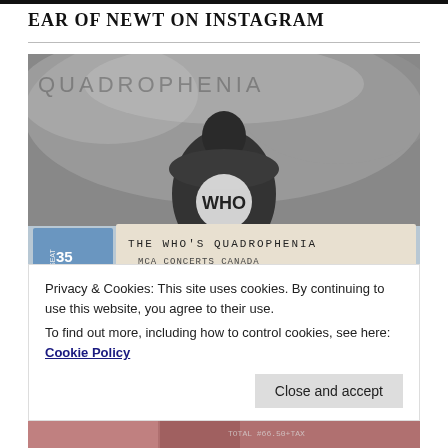EAR OF NEWT ON INSTAGRAM
[Figure (photo): Black and white photo of a person seen from behind wearing a jacket with 'WHO' written on it, in front of a moody cloudy background text reading QUADROPHENIA. In the foreground are concert tickets reading 'THE WHO'S QUADROPHENIA MCA CONCERTS CANADA'.]
Privacy & Cookies: This site uses cookies. By continuing to use this website, you agree to their use.
To find out more, including how to control cookies, see here: Cookie Policy
Close and accept